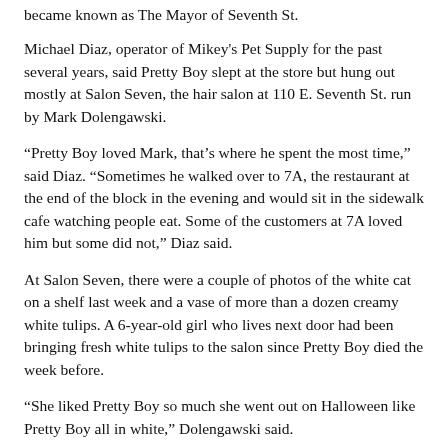became known as The Mayor of Seventh St.
Michael Diaz, operator of Mikey's Pet Supply for the past several years, said Pretty Boy slept at the store but hung out mostly at Salon Seven, the hair salon at 110 E. Seventh St. run by Mark Dolengawski.
“Pretty Boy loved Mark, that’s where he spent the most time,” said Diaz. “Sometimes he walked over to 7A, the restaurant at the end of the block in the evening and would sit in the sidewalk cafe watching people eat. Some of the customers at 7A loved him but some did not,” Diaz said.
At Salon Seven, there were a couple of photos of the white cat on a shelf last week and a vase of more than a dozen creamy white tulips. A 6-year-old girl who lives next door had been bringing fresh white tulips to the salon since Pretty Boy died the week before.
“She liked Pretty Boy so much she went out on Halloween like Pretty Boy all in white,” Dolengawski said.